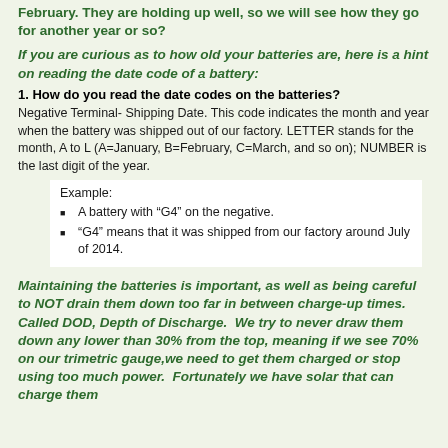February.  They are holding up well, so we will see how they go for another year or so?
If you are curious as to how old your batteries are, here is a hint on reading the date code of a battery:
1. How do you read the date codes on the batteries?
Negative Terminal- Shipping Date. This code indicates the month and year when the battery was shipped out of our factory. LETTER stands for the month, A to L (A=January, B=February, C=March, and so on); NUMBER is the last digit of the year.
Example:
A battery with “G4” on the negative.
“G4” means that it was shipped from our factory around July of 2014.
Maintaining the batteries is important, as well as being careful to NOT drain them down too far in between charge-up times. Called DOD, Depth of Discharge.  We try to never draw them down any lower than 30% from the top, meaning if we see 70% on our trimetric gauge,we need to get them charged or stop using too much power.  Fortunately we have solar that can charge them